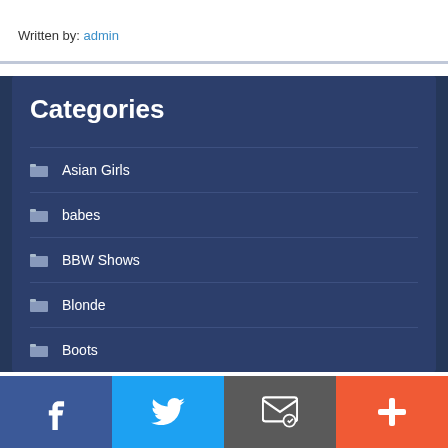Written by: admin
Categories
Asian Girls
babes
BBW Shows
Blonde
Boots